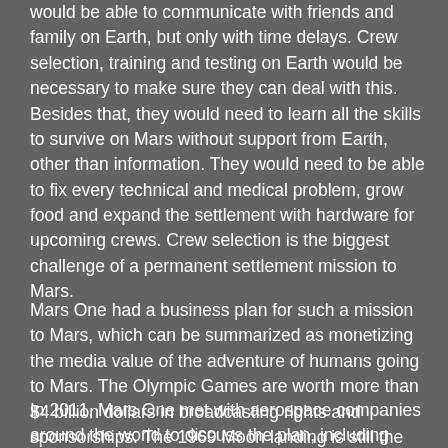would be able to communicate with friends and family on Earth, but only with time delays. Crew selection, training and testing on Earth would be necessary to make sure they can deal with this. Besides that, they would need to learn all the skills to survive on Mars without support from Earth, other than information. They would need to be able to fix every technical and medical problem, grow food and expand the settlement with hardware for upcoming crews. Crew selection is the biggest challenge of a permanent settlement mission to Mars.
Mars One had a business plan for such a mission to Mars, which can be summarized as monetizing the media value of the adventure of humans going to Mars. The Olympic Games are worth more than $4 billion dollars in broadcasting rights and sponsorships. The 1969 Moon landing is still the TV program with the highest viewership density ever. Imagine the value of a mission to Mars in the current media era. Mars One raised funds by having investors invest in a Mars One media company that held the rights to the mission.
In 2011, Mars One met with aerospace companies around the world to discuss the plan, including SpaceX, Hamilton Sundstrand, ILC Dover, MDA corporation, Paragon Space Development